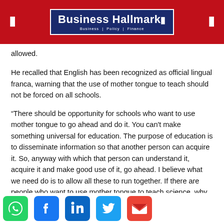Business Hallmark | Business | Policy | Finance
allowed.
He recalled that English has been recognized as official lingual franca, warning that the use of mother tongue to teach should not be forced on all schools.
“There should be opportunity for schools who want to use mother tongue to go ahead and do it. You can’t make something universal for education. The purpose of education is to disseminate information so that another person can acquire it. So, anyway with which that person can understand it, acquire it and make good use of it, go ahead. I believe what we need do is to allow all these to run together. If there are people who want to use mother tongue to teach science, why not. But you can not make it a law that everybody must do, you will place others at a disadvantage.”
[Figure (infographic): Social media sharing icons: WhatsApp (green), Facebook (blue), LinkedIn (blue with 'in'), Twitter (blue bird), Gmail (red M)]